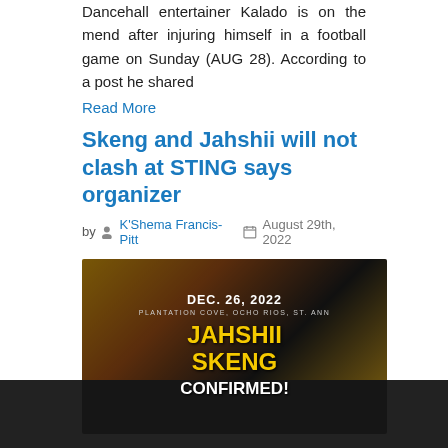Dancehall entertainer Kalado is on the mend after injuring himself in a football game on Sunday (AUG 28). According to a post he shared
Read More
Skeng and Jahshii will not clash at STING says organizer
by K'Shema Francis-Pitt August 29th, 2022
[Figure (photo): Event promotional image for STING showing Jahshii and Skeng. Text reads: DEC. 26, 2022, PLANTATION COVE, OCHO RIOS, ST. ANN, JAHSHII SKENG CONFIRMED!]
The organizers of STING are dismissing rumours that Skeng and Jahshii will clash at the annual Boxing Day event. Though both
Read More